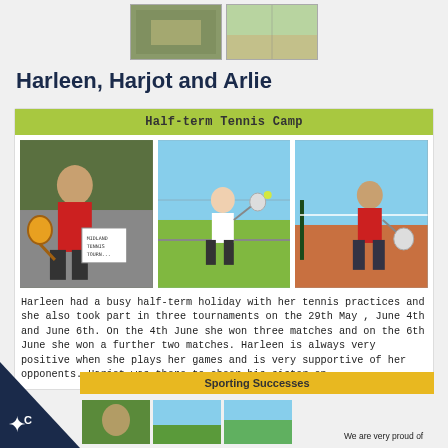[Figure (photo): Two small photos at top of page showing tennis-related images]
Harleen, Harjot and Arlie
Half-term Tennis Camp
[Figure (photo): Three photos: left - girl in red shirt holding tennis racket with Midland Tennis Tournament sign; middle - child playing tennis on grass court; right - child in red shirt holding racket on clay court]
Harleen had a busy half-term holiday with her tennis practices and she also took part in three tournaments on the 29th May , June 4th and June 6th. On the 4th June she won three matches and on the 6th June she won a further two matches. Harleen is always very positive when she plays her games and is very supportive of her opponents. Harjot was there to cheer his sister on.
Sporting Successes
[Figure (photo): Three small photos at bottom showing sporting activities]
We are very proud of